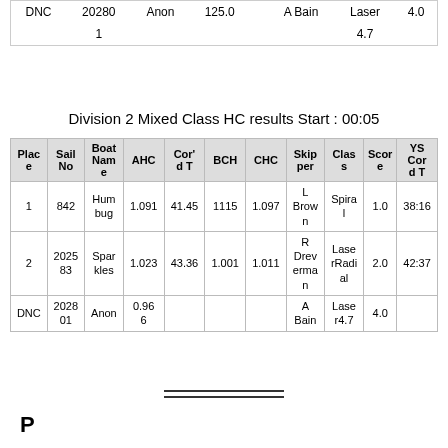| DNC | 20280 | Anon | 125.0 |  | A Bain | Laser | 4.0 |
| --- | --- | --- | --- | --- | --- | --- | --- |
|  | 1 |  |  |  |  | 4.7 |  |
Division 2 Mixed Class HC results Start : 00:05
| Plac e | Sail No | Boat Nam e | AHC | Cor' d T | BCH | CHC | Skip per | Clas s | Scor e | YS Cor d T |
| --- | --- | --- | --- | --- | --- | --- | --- | --- | --- | --- |
| 1 | 842 | Hum bug | 1.091 | 41.45 | 1115 | 1.097 | L Brow n | Spira l | 1.0 | 38:16 |
| 2 | 2025 83 | Spar kles | 1.023 | 43.36 | 1.001 | 1.011 | R Drev erma n | Lase rRadi al | 2.0 | 42:37 |
| DNC | 2028 01 | Anon | 0.96 6 |  |  |  | A Bain | Lase r4.7 | 4.0 |  |